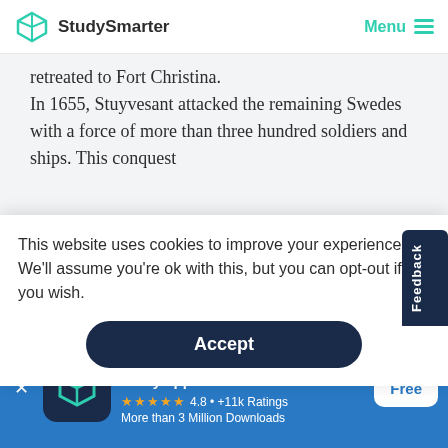StudySmarter  Menu
retreated to Fort Christina.
In 1655, Stuyvesant attacked the remaining Swedes with a force of more than three hundred soldiers and ships. This conquest
This website uses cookies to improve your experience. We'll assume you're ok with this, but you can opt-out if you wish.
Accept
StudySmarter - The all-in-one study app.
★★★★★ 4.8 • +11k Ratings
More than 3 Million Downloads
Free